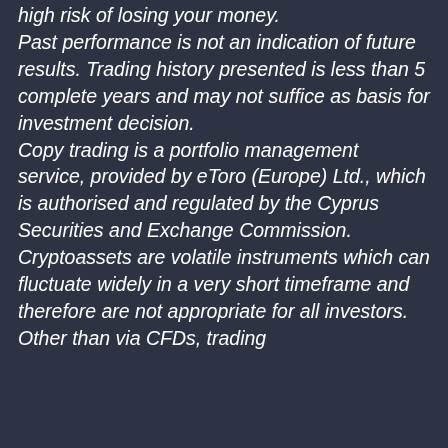high risk of losing your money. Past performance is not an indication of future results. Trading history presented is less than 5 complete years and may not suffice as basis for investment decision. Copy trading is a portfolio management service, provided by eToro (Europe) Ltd., which is authorised and regulated by the Cyprus Securities and Exchange Commission. Cryptoassets are volatile instruments which can fluctuate widely in a very short timeframe and therefore are not appropriate for all investors. Other than via CFDs, trading